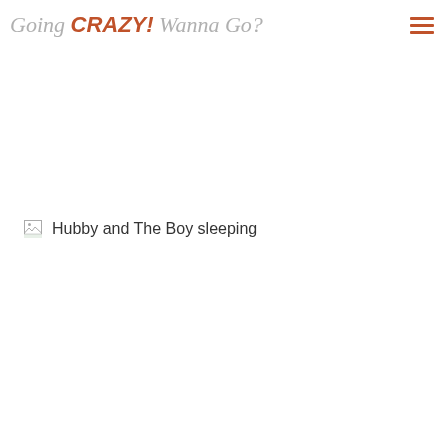Going CRAZY! Wanna Go?
[Figure (photo): Broken image placeholder with alt text 'Hubby and The Boy sleeping']